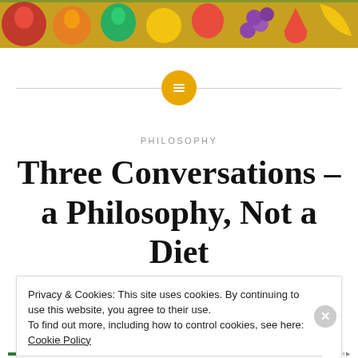[Figure (photo): Top banner photo of colorful assorted fruits including apples, oranges, grapes, strawberries, and bananas]
[Figure (other): Horizontal divider line with a gold/amber circular icon containing a menu/lines symbol in the center]
PHILOSOPHY
Three Conversations – a Philosophy, Not a Diet
Posted by KEN JONES on SEPTEMBER 1, 2018
Privacy & Cookies: This site uses cookies. By continuing to use this website, you agree to their use.
To find out more, including how to control cookies, see here: Cookie Policy
Close and accept